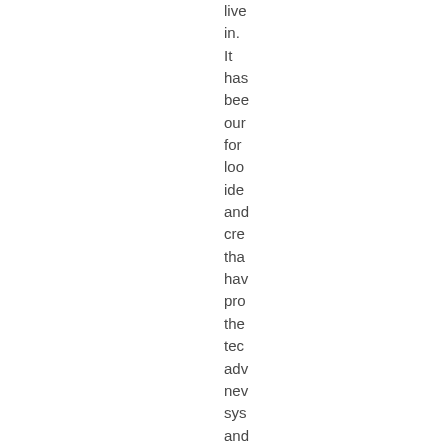live in. It has been our for loo ide and cre tha hav pro the tec adv new sys and ser nov org